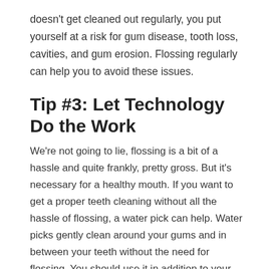doesn't get cleaned out regularly, you put yourself at a risk for gum disease, tooth loss, cavities, and gum erosion. Flossing regularly can help you to avoid these issues.
Tip #3: Let Technology Do the Work
We're not going to lie, flossing is a bit of a hassle and quite frankly, pretty gross. But it's necessary for a healthy mouth. If you want to get a proper teeth cleaning without all the hassle of flossing, a water pick can help. Water picks gently clean around your gums and in between your teeth without the need for flossing. You should use it in addition to your toothbrush. They can be especially helpful if you wear